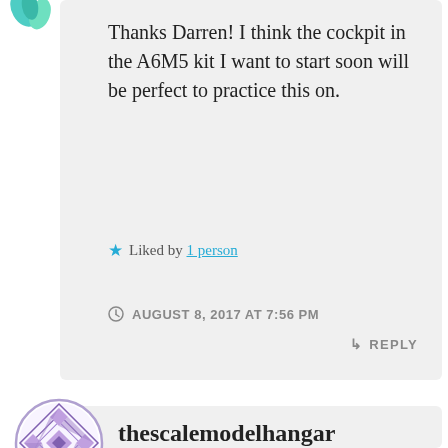Thanks Darren! I think the cockpit in the A6M5 kit I want to start soon will be perfect to practice this on.
★ Liked by 1 person
AUGUST 8, 2017 AT 7:56 PM
↳ REPLY
thescalemodelhangar